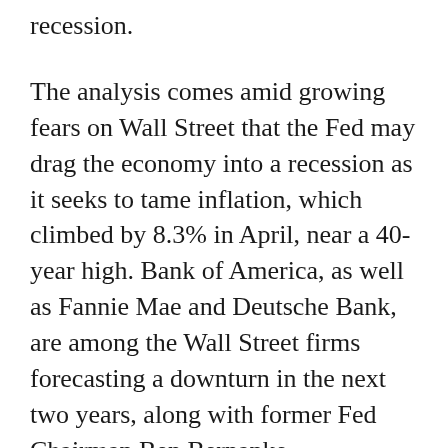recession.
The analysis comes amid growing fears on Wall Street that the Fed may drag the economy into a recession as it seeks to tame inflation, which climbed by 8.3% in April, near a 40-year high. Bank of America, as well as Fannie Mae and Deutsche Bank, are among the Wall Street firms forecasting a downturn in the next two years, along with former Fed Chairman Ben Bernanke.
“The Fed is attempting to thread the needle while wearing boxing gloves and a mouth guard, which reduces its degrees of freedom to act without causing damage to the real economy,” said RSM Chief Economist Joe